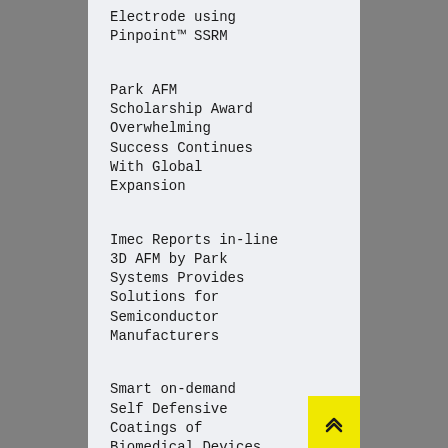Electrode using Pinpoint™ SSRM
Park AFM Scholarship Award Overwhelming Success Continues With Global Expansion
Imec Reports in-line 3D AFM by Park Systems Provides Solutions for Semiconductor Manufacturers
Smart on-demand Self Defensive Coatings of Biomedical Devices
An Interview with P...